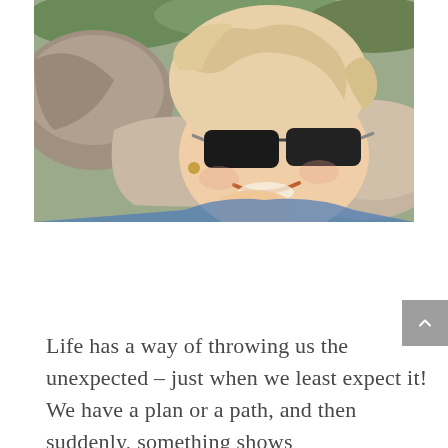[Figure (photo): A smiling woman with windswept blonde hair wearing dark sunglasses, photographed outdoors among rocky terrain with greenery in the background. She is resting her chin/hand near her face and smiling broadly.]
Life has a way of throwing us the unexpected – just when we least expect it! We have a plan or a path, and then suddenly, something shows